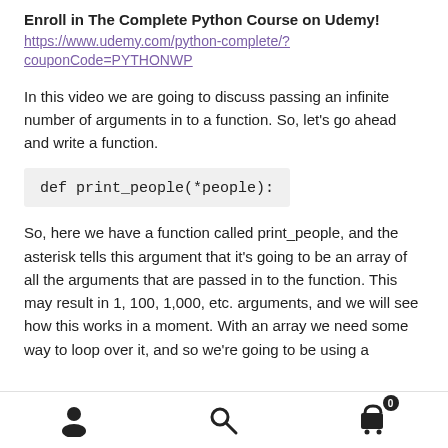Enroll in The Complete Python Course on Udemy!
https://www.udemy.com/python-complete/?couponCode=PYTHONWP
In this video we are going to discuss passing an infinite number of arguments in to a function. So, let's go ahead and write a function.
So, here we have a function called print_people, and the asterisk tells this argument that it's going to be an array of all the arguments that are passed in to the function. This may result in 1, 100, 1,000, etc. arguments, and we will see how this works in a moment. With an array we need some way to loop over it, and so we're going to be using a
navigation icons: person, search, cart (0)